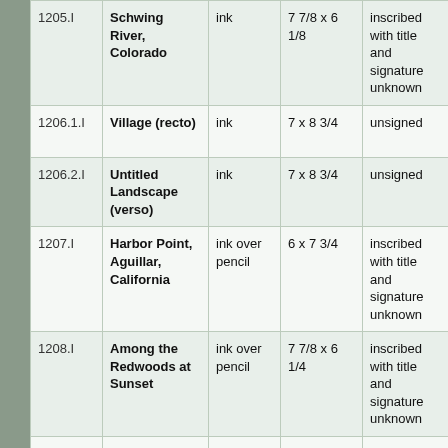| ID | Title | Medium | Dimensions | Inscription | Collection |
| --- | --- | --- | --- | --- | --- |
| 1205.I | Schwing River, Colorado | ink | 7 7/8 x 6 1/8 | inscribed with title and signature unknown | Private Collec… |
| 1206.1.I | Village (recto) | ink | 7 x 8 3/4 | unsigned | Private Collec… |
| 1206.2.I | Untitled Landscape (verso) | ink | 7 x 8 3/4 | unsigned | Private Collec… |
| 1207.I | Harbor Point, Aguillar, California | ink over pencil | 6 x 7 3/4 | inscribed with title and signature unknown | Private Collec… |
| 1208.I | Among the Redwoods at Sunset | ink over pencil | 7 7/8 x 6 1/4 | inscribed with title and signature unknown | Private Collec… |
| 1209.I | Lower California, Coastal Landscape | ink | 6 x 7 5/8 | inscribed with title and signature unknown | Private Collec… |
|  |  |  |  | inscribed |  |